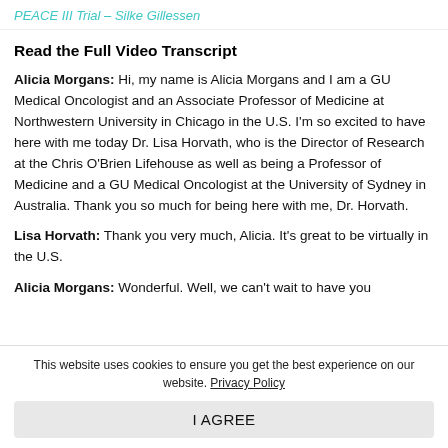PEACE III Trial – Silke Gillessen
Read the Full Video Transcript
Alicia Morgans: Hi, my name is Alicia Morgans and I am a GU Medical Oncologist and an Associate Professor of Medicine at Northwestern University in Chicago in the U.S. I'm so excited to have here with me today Dr. Lisa Horvath, who is the Director of Research at the Chris O'Brien Lifehouse as well as being a Professor of Medicine and a GU Medical Oncologist at the University of Sydney in Australia. Thank you so much for being here with me, Dr. Horvath.
Lisa Horvath: Thank you very much, Alicia. It's great to be virtually in the U.S.
Alicia Morgans: Wonderful. Well, we can't wait to have you
This website uses cookies to ensure you get the best experience on our website. Privacy Policy
I AGREE